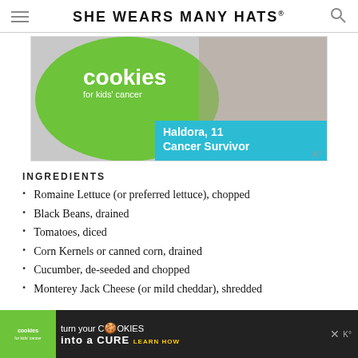SHE WEARS MANY HATS
[Figure (photo): Advertisement banner for 'Cookies for Kids' Cancer' featuring a green circle logo with the text 'cookies for kids cancer' and a teal banner reading 'Haldora, 11 Cancer Survivor' with a photo of a person with a cake in the background.]
INGREDIENTS
Romaine Lettuce (or preferred lettuce), chopped
Black Beans, drained
Tomatoes, diced
Corn Kernels or canned corn, drained
Cucumber, de-seeded and chopped
Monterey Jack Cheese (or mild cheddar), shredded
[Figure (photo): Bottom advertisement banner for 'Cookies for Kids Cancer' on dark background with text 'turn your COOKIES into a CURE LEARN HOW']